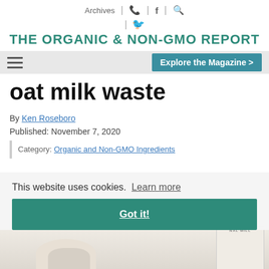Archives | phone | facebook | twitter | search
THE ORGANIC & NON-GMO REPORT
[Figure (screenshot): Navigation bar with hamburger menu icon and 'Explore the Magazine >' button]
oat milk waste
By Ken Roseboro
Published: November 7, 2020
Category: Organic and Non-GMO Ingredients
This website uses cookies.  Learn more
Got it!
[Figure (photo): Oat milk related product image at the bottom of the page, including what appears to be an oat milk carton on the right side and oats/bowls at the bottom]